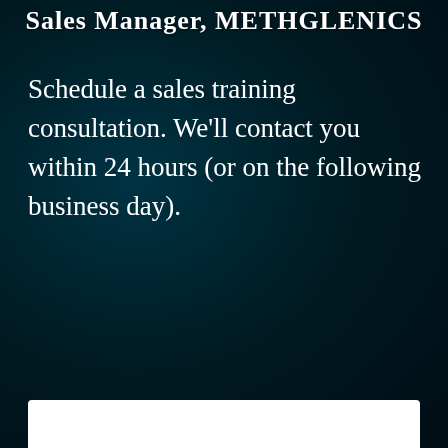Sales Manager, METHGLENICS
Schedule a sales training consultation. We'll contact you within 24 hours (or on the following business day).